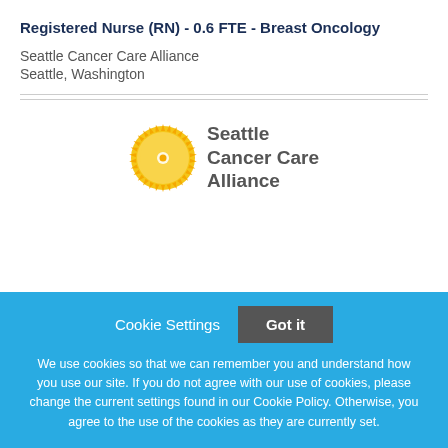Registered Nurse (RN) - 0.6 FTE - Breast Oncology
Seattle Cancer Care Alliance
Seattle, Washington
[Figure (logo): Seattle Cancer Care Alliance logo with sunburst icon and text]
Cookie Settings  Got it
We use cookies so that we can remember you and understand how you use our site. If you do not agree with our use of cookies, please change the current settings found in our Cookie Policy. Otherwise, you agree to the use of the cookies as they are currently set.